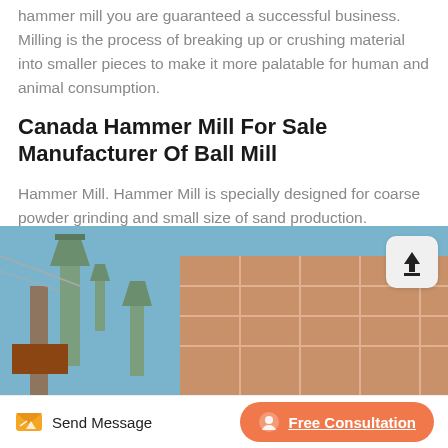hammer mill you are guaranteed a successful business. Milling is the process of breaking up or crushing material into smaller pieces to make it more palatable for human and animal consumption.
Canada Hammer Mill For Sale Manufacturer Of Ball Mill
Hammer Mill. Hammer Mill is specially designed for coarse powder grinding and small size of sand production. Hammer Mill adopts some Lear more
[Figure (photo): Industrial building with green grain elevator equipment and machinery against a blue sky, brick building in background]
Send Message | Free Consultation